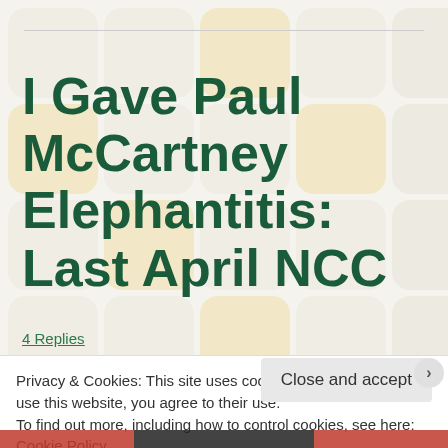I Gave Paul McCartney Elephantitis: Last April NCC
4 Replies
I would like to give a few shout outs to The Beatles...
Privacy & Cookies: This site uses cookies. By continuing to use this website, you agree to their use.
To find out more, including how to control cookies, see here: Cookie Policy
Close and accept